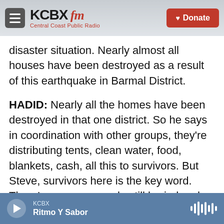KCBX FM — Central Coast Public Radio | Donate
disaster situation. Nearly almost all houses have been destroyed as a result of this earthquake in Barmal District.
HADID: Nearly all the homes have been destroyed in that one district. So he says in coordination with other groups, they're distributing tents, clean water, food, blankets, cash, all this to survivors. But Steve, survivors here is the key word. There's so many people still buried under the rubble, and it might take days to get them out because this area is so remote. It's rugged mountains that straddle the border of Pakistan and Afghanistan. It's mostly dirt
KCBX | Ritmo Y Sabor